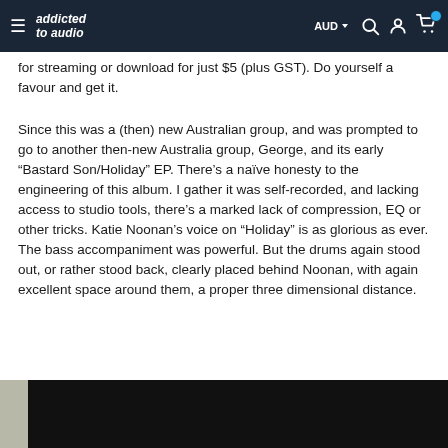addicted to audio — AUD navigation bar
for streaming or download for just $5 (plus GST). Do yourself a favour and get it.
Since this was a (then) new Australian group, and was prompted to go to another then-new Australia group, George, and its early “Bastard Son/Holiday” EP. There’s a naïve honesty to the engineering of this album. I gather it was self-recorded, and lacking access to studio tools, there’s a marked lack of compression, EQ or other tricks. Katie Noonan’s voice on “Holiday” is as glorious as ever. The bass accompaniment was powerful. But the drums again stood out, or rather stood back, clearly placed behind Noonan, with again excellent space around them, a proper three dimensional distance.
[Figure (photo): Partial dark photograph visible at the bottom of the page, showing a mostly black image with a light grey strip on the left edge.]